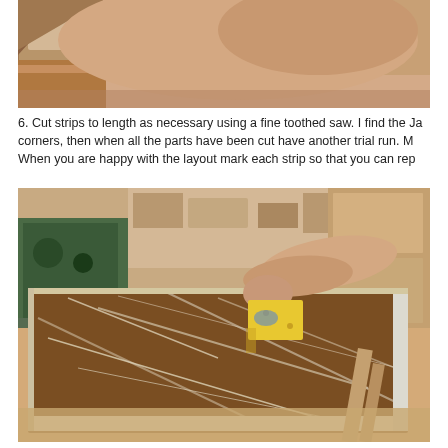[Figure (photo): Top portion of a photograph showing a close-up of wooden strips or boards, partially cropped at the top of the page]
6. Cut strips to length as necessary using a fine toothed saw. I find the Ja corners, then when all the parts have been cut have another trial run. M When you are happy with the layout mark each strip so that you can rep
[Figure (photo): A person's hand spreading or smoothing something with a yellow scraper/spreader tool on a large flat panel (likely laminate or veneer) placed on a workbench in a workshop. The panel has a brown/amber appearance with white scratch marks. Workshop equipment visible in the background.]